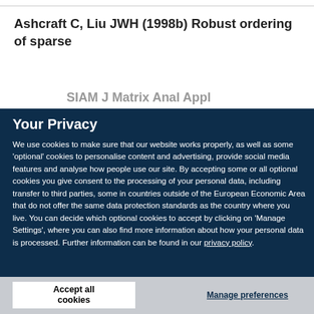Ashcraft C, Liu JWH (1998b) Robust ordering of sparse
Your Privacy
We use cookies to make sure that our website works properly, as well as some 'optional' cookies to personalise content and advertising, provide social media features and analyse how people use our site. By accepting some or all optional cookies you give consent to the processing of your personal data, including transfer to third parties, some in countries outside of the European Economic Area that do not offer the same data protection standards as the country where you live. You can decide which optional cookies to accept by clicking on 'Manage Settings', where you can also find more information about how your personal data is processed. Further information can be found in our privacy policy.
Accept all cookies
Manage preferences